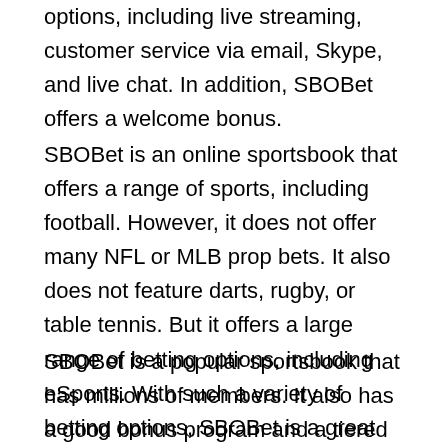options, including live streaming, customer service via email, Skype, and live chat. In addition, SBOBet offers a welcome bonus.
SBOBet is an online sportsbook that offers a range of sports, including football. However, it does not offer many NFL or MLB prop bets. It also does not feature darts, rugby, or table tennis. But it offers a large range of betting options, including eSports. With such a variety of betting options, SBOBet is a great choice for sports fans. The site also offers live streaming of races and events.
SBOBet is a popular sportsbook that has millions of members. It also has a good bonus program and a tiered revenue sharing system. It offers financial and proposition bets and is available in several countries.